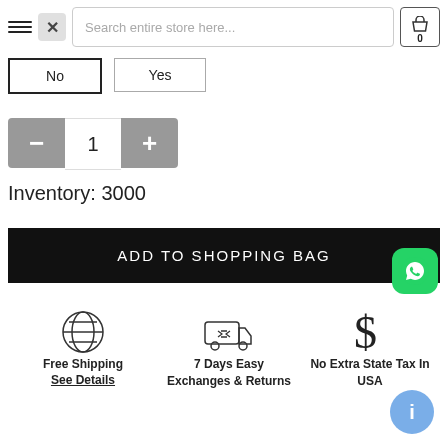[Figure (screenshot): E-commerce product page UI showing search bar, navigation icons, quantity stepper, inventory count, add to shopping bag button, and feature icons for free shipping, exchanges/returns, and no extra state tax.]
No
Yes
1
Inventory:  3000
ADD TO SHOPPING BAG
Free Shipping
See Details
7 Days Easy Exchanges & Returns
No Extra State Tax In USA